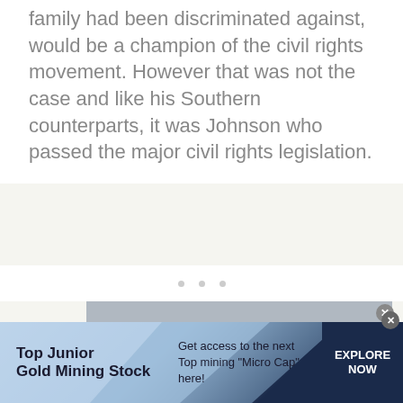family had been discriminated against, would be a champion of the civil rights movement. However that was not the case and like his Southern counterparts, it was Johnson who passed the major civil rights legislation.
[Figure (other): Three small grey dots serving as a carousel or media navigation indicator]
[Figure (screenshot): Grey video player area with message 'No compatible source was found for this media' and a close button in the top right corner]
[Figure (infographic): Advertisement banner: 'Top Junior Gold Mining Stock' — Get access to the next Top mining "Micro Cap" here! — EXPLORE NOW button. Blue/navy diagonal wave design.]